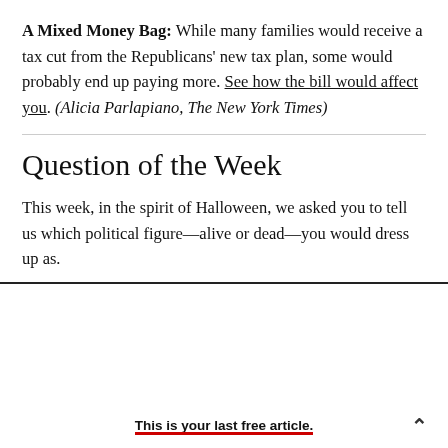A Mixed Money Bag: While many families would receive a tax cut from the Republicans' new tax plan, some would probably end up paying more. See how the bill would affect you. (Alicia Parlapiano, The New York Times)
Question of the Week
This week, in the spirit of Halloween, we asked you to tell us which political figure—alive or dead—you would dress up as.
This is your last free article.